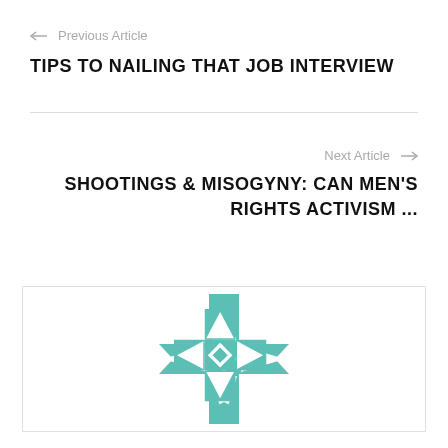← Previous Article
TIPS TO NAILING THAT JOB INTERVIEW
Next Article →
SHOOTINGS & MISOGYNY: CAN MEN'S RIGHTS ACTIVISM ...
[Figure (logo): Teal/green decorative geometric cross/flower logo with star pattern inside, white background, inside a bordered box]